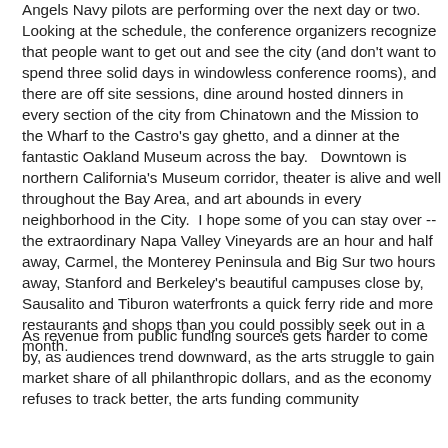Angels Navy pilots are performing over the next day or two. Looking at the schedule, the conference organizers recognize that people want to get out and see the city (and don't want to spend three solid days in windowless conference rooms), and there are off site sessions, dine around hosted dinners in every section of the city from Chinatown and the Mission to the Wharf to the Castro's gay ghetto, and a dinner at the fantastic Oakland Museum across the bay.   Downtown is northern California's Museum corridor, theater is alive and well throughout the Bay Area, and art abounds in every neighborhood in the City.  I hope some of you can stay over -- the extraordinary Napa Valley Vineyards are an hour and half away, Carmel, the Monterey Peninsula and Big Sur two hours away, Stanford and Berkeley's beautiful campuses close by, Sausalito and Tiburon waterfronts a quick ferry ride and more restaurants and shops than you could possibly seek out in a month.
As revenue from public funding sources gets harder to come by, as audiences trend downward, as the arts struggle to gain market share of all philanthropic dollars, and as the economy refuses to track better, the arts funding community